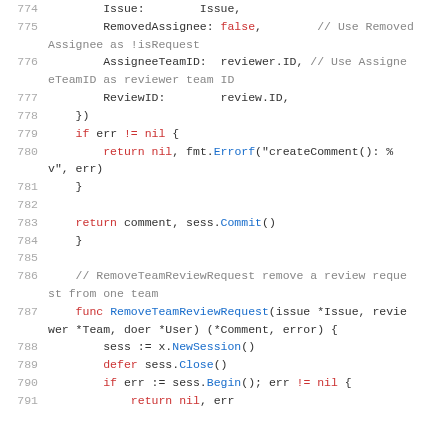Source code listing, lines 774–791, Go programming language